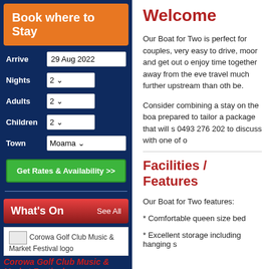Book where to Stay
Arrive: 29 Aug 2022, Nights: 2, Adults: 2, Children: 2, Town: Moama
Get Rates & Availability >>
What's On  See All
[Figure (logo): Corowa Golf Club Music & Market Festival logo]
Corowa Golf Club Music & Market Festival
02 - 04 Sep 2022 - Corowa
Welcome
Our Boat for Two is perfect for couples, very easy to drive, moor and get out o enjoy time together away from the eve travel much further upstream than oth be.
Consider combining a stay on the boa prepared to tailor a package that will s 0493 276 202 to discuss with one of o
Facilities / Features
Our Boat for Two features:
* Comfortable queen size bed
* Excellent storage including hanging s